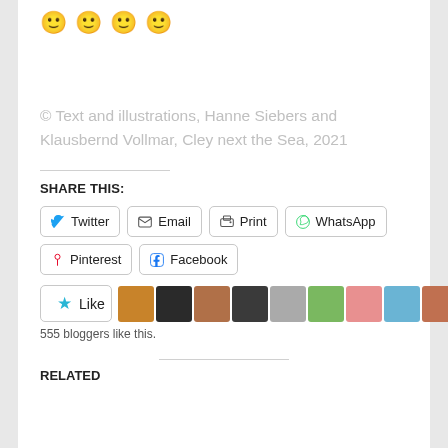[Figure (illustration): Four yellow smiley face emoji in a row]
© Text and illustrations, Hanne Siebers and Klausbernd Vollmar, Cley next the Sea, 2021
SHARE THIS:
[Figure (screenshot): Social share buttons: Twitter, Email, Print, WhatsApp, Pinterest, Facebook]
[Figure (screenshot): Like button with star icon and 9 blogger avatars, 555 bloggers like this.]
555 bloggers like this.
RELATED